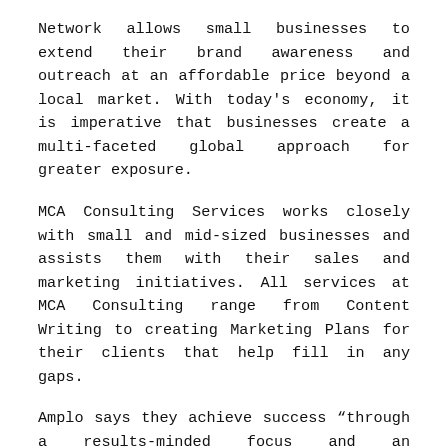Network allows small businesses to extend their brand awareness and outreach at an affordable price beyond a local market. With today's economy, it is imperative that businesses create a multi-faceted global approach for greater exposure.
MCA Consulting Services works closely with small and mid-sized businesses and assists them with their sales and marketing initiatives. All services at MCA Consulting range from Content Writing to creating Marketing Plans for their clients that help fill in any gaps.
Amplo says they achieve success “through a results-minded focus and an unrelenting commitment to driving growth; our top strengths are identifying and capitalizing on opportunities in untapped markets. We have a proven track record of understanding client needs and providing strategic solutions."
To learn more about MCA Consulting Services or schedu…